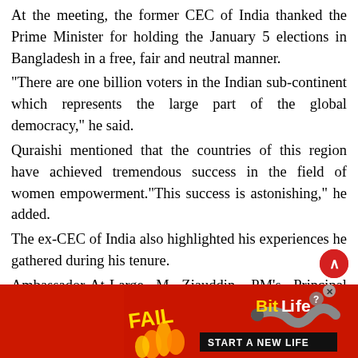At the meeting, the former CEC of India thanked the Prime Minister for holding the January 5 elections in Bangladesh in a free, fair and neutral manner.
“There are one billion voters in the Indian sub-continent which represents the large part of the global democracy,” he said.
Quraishi mentioned that the countries of this region have achieved tremendous success in the field of women empowerment.“This success is astonishing,” he added.
The ex-CEC of India also highlighted his experiences he gathered during his tenure.
Ambassador-At-Large M Ziauddin, PM’s Principal Secretary Abdus Sobhan Sikder and Indian High Commissioner to
[Figure (other): BitLife advertisement banner with red background, FAIL text, cartoon character, flames, BitLife logo, and START A NEW LIFE tagline]